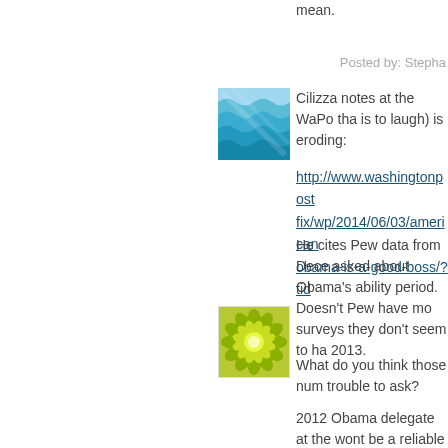mean.
Posted by: Stepha
[Figure (illustration): User avatar: blue wavy water pattern icon in a square frame]
Cilizza notes at the WaPo tha is to laugh) is eroding:
http://www.washingtonpost fix/wp/2014/06/03/american obama-is-a-good-boss/?tid
He cites Pew data from Dece asked about Obama's ability period. Doesn't Pew have mo surveys they don't seem to ha 2013.
What do you think those num trouble to ask?
[Figure (illustration): User avatar: green sunflower / mandala pattern icon in a square frame]
2012 Obama delegate at the wont be a reliable vote for his voters are as stupid as Doub